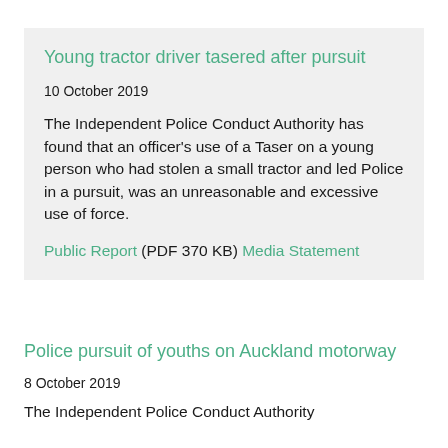(PDF 370 KB)
Young tractor driver tasered after pursuit
10 October 2019
The Independent Police Conduct Authority has found that an officer's use of a Taser on a young person who had stolen a small tractor and led Police in a pursuit, was an unreasonable and excessive use of force.
Public Report (PDF 370 KB) Media Statement
Police pursuit of youths on Auckland motorway
8 October 2019
The Independent Police Conduct Authority